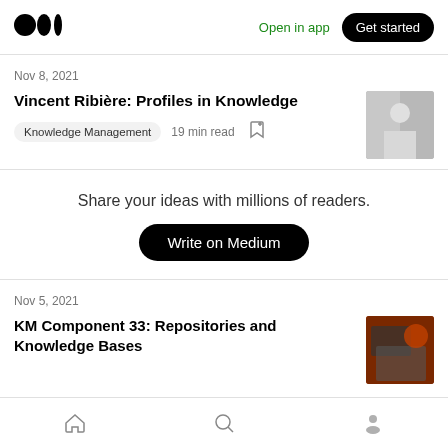Medium logo | Open in app | Get started
Nov 8, 2021
Vincent Ribière: Profiles in Knowledge
Knowledge Management  19 min read
Share your ideas with millions of readers.
Write on Medium
Nov 5, 2021
KM Component 33: Repositories and Knowledge Bases
Home | Search | Profile